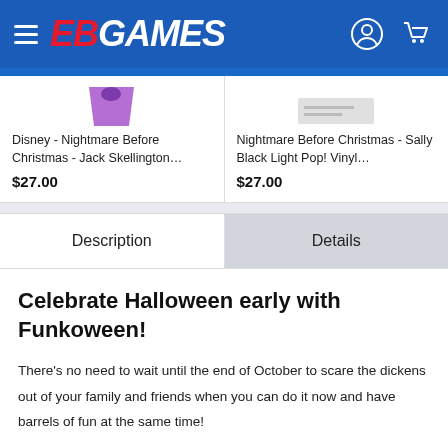EB GAMES
Disney - Nightmare Before Christmas - Jack Skellington…
$27.00
Nightmare Before Christmas - Sally Black Light Pop! Vinyl…
$27.00
Description
Details
Celebrate Halloween early with Funkoween!
There's no need to wait until the end of October to scare the dickens out of your family and friends when you can do it now and have barrels of fun at the same time!